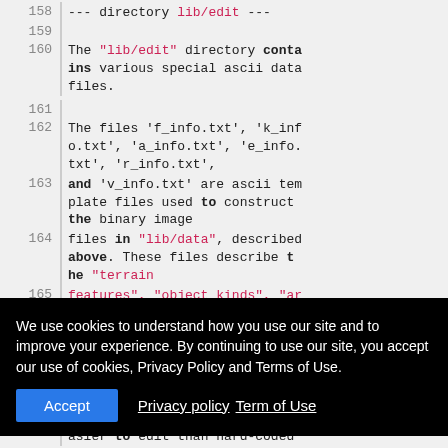158  --- directory lib/edit ---
159  (empty line)
160  The "lib/edit" directory contains various special ascii data files.
161  (empty line)
162  The files 'f_info.txt', 'k_info.txt', 'a_info.txt', 'e_info.txt', 'r_info.txt',
163  and 'v_info.txt' are ascii template files used to construct the binary image
164  files in "lib/data", described above.  These files describe the "terrain
165  features", "object kinds", "artifacts", "ego-items", "monste
We use cookies to understand how you use our site and to improve your experience. By continuing to use our site, you accept our use of cookies, Privacy Policy and Terms of Use.
asier to edit than hard-coded